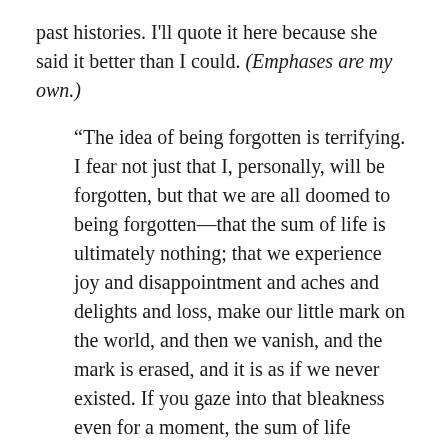past histories. I'll quote it here because she said it better than I could. (Emphases are my own.)
“The idea of being forgotten is terrifying. I fear not just that I, personally, will be forgotten, but that we are all doomed to being forgotten—that the sum of life is ultimately nothing; that we experience joy and disappointment and aches and delights and loss, make our little mark on the world, and then we vanish, and the mark is erased, and it is as if we never existed. If you gaze into that bleakness even for a moment, the sum of life becomes null and void, because if nothing lasts, nothing matters. It means that everything we experience unfolds without a pattern, and life is just a wild, random,